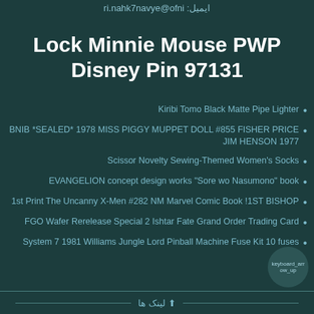ایمیل: info@eyvan7khan.ir
Lock Minnie Mouse PWP Disney Pin 97131
Kiribi Tomo Black Matte Pipe Lighter
BNIB *SEALED* 1978 MISS PIGGY MUPPET DOLL #855 FISHER PRICE JIM HENSON 1977
Scissor Novelty Sewing-Themed Women's Socks
EVANGELION concept design works "Sore wo Nasumono" book
1st Print The Uncanny X-Men #282 NM Marvel Comic Book 1ST BISHOP!
FGO Wafer Rerelease Special 2 Ishtar Fate Grand Order Trading Card
System 7 1981 Williams Jungle Lord Pinball Machine Fuse Kit 10 fuses
لینک ها ⬆